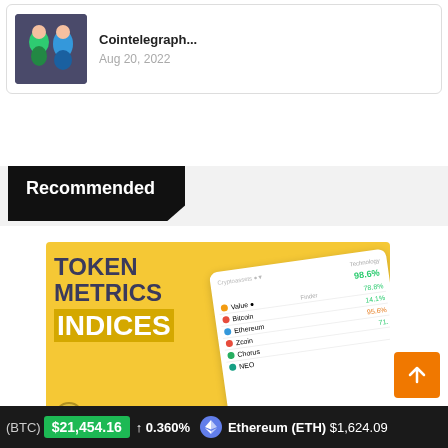[Figure (photo): News card with thumbnail image showing two animated characters, one in green and one in blue, with title 'Cointelegraph...' and date 'Aug 20, 2022']
Cointelegraph...
Aug 20, 2022
Recommended
[Figure (illustration): Token Metrics Indices advertisement banner with yellow background showing 'TOKEN METRICS INDICES' text and a dashboard mockup with green percentage values]
(BTC) $21,454.16 ↑ 0.360% Ethereum (ETH) $1,624.09